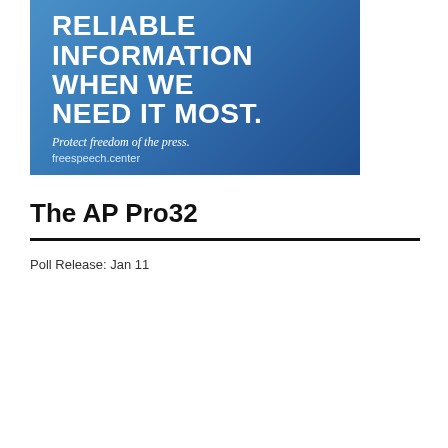[Figure (photo): Advertisement banner with blue background showing text 'RELIABLE INFORMATION WHEN WE NEED IT MOST. Protect freedom of the press. freespeech.center']
The AP Pro32
Poll Release: Jan 11
| Rank | Trend | Team |
| --- | --- | --- |
| 1 | - | Green Bay Packers |
| 2 | - | Tampa Bay Buccaneers |